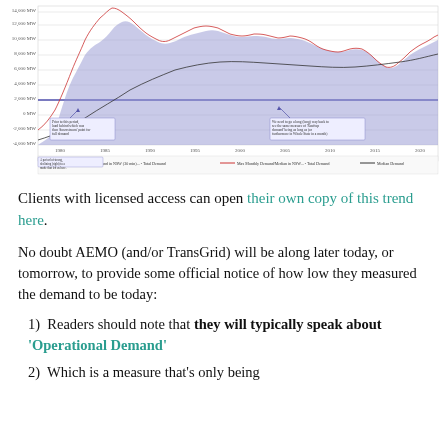[Figure (continuous-plot): Time-series area chart showing monthly operational demand in NSW over many decades, with area fill in light blue/purple, a red line series, and a black line series. Annotations point to specific periods. X-axis spans from approximately 1980 to 2020. Y-axis shows demand values from negative to large positive values. Legend at bottom.]
Clients with licensed access can open their own copy of this trend here.
No doubt AEMO (and/or TransGrid) will be along later today, or tomorrow, to provide some official notice of how low they measured the demand to be today:
Readers should note that they will typically speak about 'Operational Demand'
Which is a measure that's only being